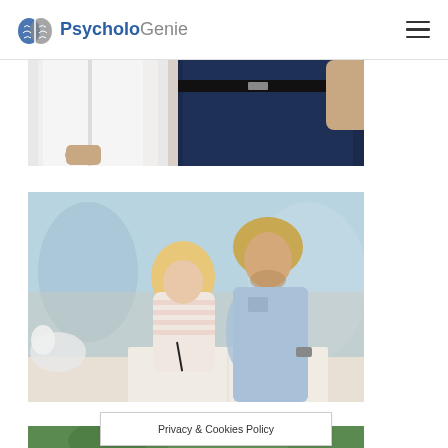PsycholoGenie
[Figure (photo): Cropped photo showing two people standing, one in a white shirt and one in dark navy pants, partial torso view]
[Figure (photo): A young blonde girl and a man with short hair sitting together, the man helping the girl write in a book on a table]
[Figure (photo): Partial view of another photo at the bottom of the page, outdoor scene]
Privacy & Cookies Policy